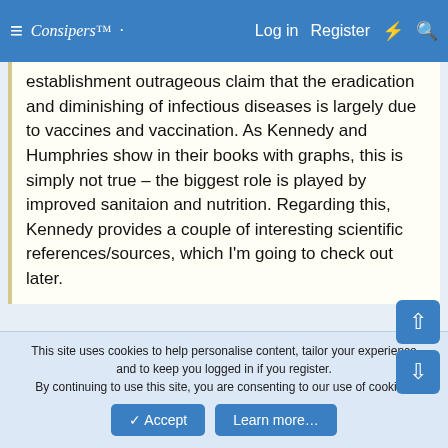≡  Consipers™  Log in  Register  ⚡  🔍
establishment outrageous claim that the eradication and diminishing of infectious diseases is largely due to vaccines and vaccination. As Kennedy and Humphries show in their books with graphs, this is simply not true – the biggest role is played by improved sanitaion and nutrition. Regarding this, Kennedy provides a couple of interesting scientific references/sources, which I'm going to check out later.
FWIW, the claims in Dissolving Illusions prompted me to ask in a recent session whether vaccines had ever done any good (they have, apparently). Nonetheless, I intend to read Kennedy's book and will look out for his overall take on vaccine efficacy.
This site uses cookies to help personalise content, tailor your experience and to keep you logged in if you register.
By continuing to use this site, you are consenting to our use of cookies.
✓ Accept   Learn more…